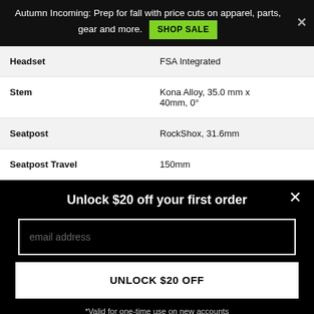Autumn Incoming: Prep for fall with price cuts on apparel, parts, gear and more. SHOP SALE ×
| Component | Spec |
| --- | --- |
| Headset | FSA Integrated |
| Stem | Kona Alloy, 35.0 mm x 40mm, 0° |
| Seatpost | RockShox, 31.6mm |
| Seatpost Travel | 150mm |
Unlock $20 off your first order
email address
UNLOCK $20 OFF
*Valid for one-time use on new accounts